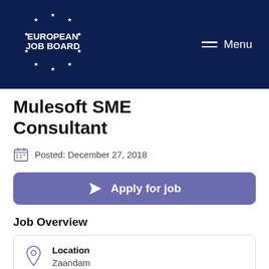EUROPEAN JOB BOARD | Menu
Mulesoft SME Consultant
Posted: December 27, 2018
Apply for job
Job Overview
Location
Zaandam